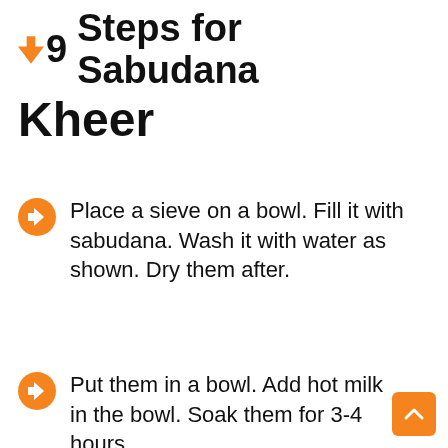Steps for Sabudana Kheer
Place a sieve on a bowl. Fill it with sabudana. Wash it with water as shown. Dry them after.
Put them in a bowl. Add hot milk in the bowl. Soak them for 3-4 hours.